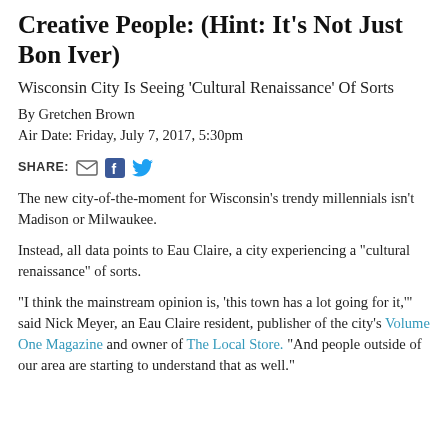Creative People: (Hint: It's Not Just Bon Iver)
Wisconsin City Is Seeing 'Cultural Renaissance' Of Sorts
By Gretchen Brown
Air Date: Friday, July 7, 2017, 5:30pm
SHARE: [email] [facebook] [twitter]
The new city-of-the-moment for Wisconsin's trendy millennials isn't Madison or Milwaukee.
Instead, all data points to Eau Claire, a city experiencing a "cultural renaissance" of sorts.
"I think the mainstream opinion is, 'this town has a lot going for it,'" said Nick Meyer, an Eau Claire resident, publisher of the city's Volume One Magazine and owner of The Local Store. "And people outside of our area are starting to understand that as well."